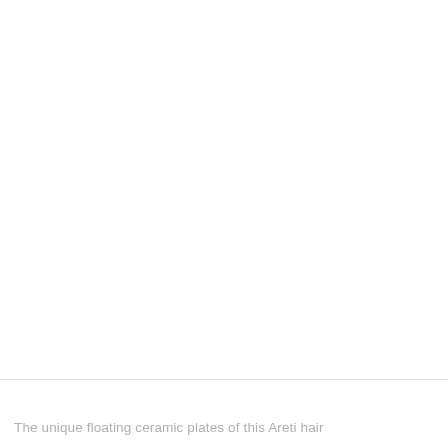[Figure (photo): Large white/blank image area occupying the upper ~85% of the page]
The unique floating ceramic plates of this Areti hair